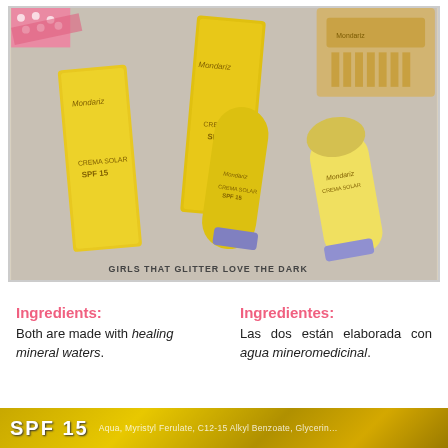[Figure (photo): Product photo showing Mondariz brand yellow sunscreen packaging (CREMA SOLAR SPF 15 and SPF 40) — boxes and tubes laid on a light surface alongside a wooden decorative comb. Pink polka-dot ribbon visible top-left. Watermark reads GIRLS THAT GLITTER LOVE THE DARK.]
Ingredients:
Both are made with healing mineral waters.
Ingredientes:
Las dos están elaborada con agua mineromedicinal.
[Figure (photo): Close-up of gold-toned label showing SPF 15 text in bold on left, followed by ingredient list text partially visible.]